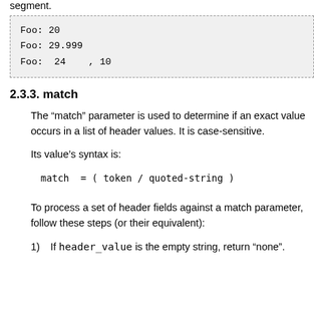segment.
[Figure (other): Code block showing three lines: Foo: 20 / Foo: 29.999 / Foo:  24   , 10]
2.3.3. match
The “match” parameter is used to determine if an exact value occurs in a list of header values. It is case-sensitive.
Its value’s syntax is:
To process a set of header fields against a match parameter, follow these steps (or their equivalent):
1)   If header_value is the empty string, return “none”.